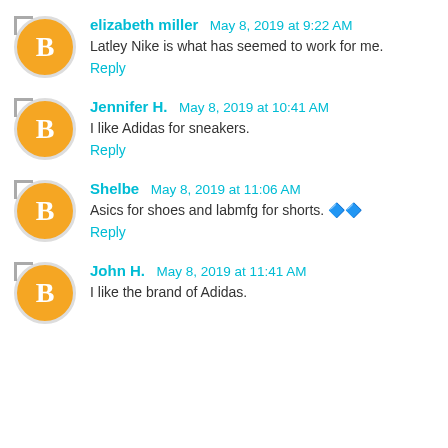elizabeth miller May 8, 2019 at 9:22 AM
Latley Nike is what has seemed to work for me.
Reply
Jennifer H. May 8, 2019 at 10:41 AM
I like Adidas for sneakers.
Reply
Shelbe May 8, 2019 at 11:06 AM
Asics for shoes and labmfg for shorts. 🔷🔷
Reply
John H. May 8, 2019 at 11:41 AM
I like the brand of Adidas.